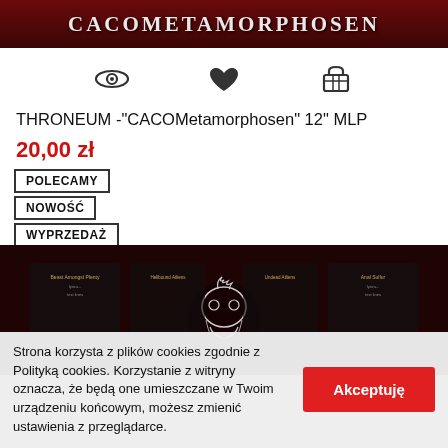[Figure (photo): Dark red banner with stylized text reading CACOMETAMORPHOSEN]
[Figure (illustration): Three icons: eye (quickview), heart (wishlist), shopping basket (add to cart)]
THRONEUM -"CACOMetamorphosen" 12" MLP
20,00 zł
POLECAMY
NOWOŚĆ
WYPRZEDAŻ
[Figure (photo): Dark album insert/booklet with skull and text, dark red background]
Strona korzysta z plików cookies zgodnie z Polityką cookies. Korzystanie z witryny oznacza, że będą one umieszczane w Twoim urządzeniu końcowym, możesz zmienić ustawienia z przeglądarce.
Akceptuję